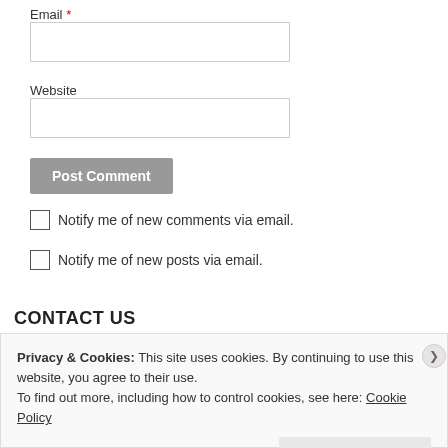Email *
Website
Post Comment
Notify me of new comments via email.
Notify me of new posts via email.
CONTACT US
Privacy & Cookies: This site uses cookies. By continuing to use this website, you agree to their use. To find out more, including how to control cookies, see here: Cookie Policy
Close and accept